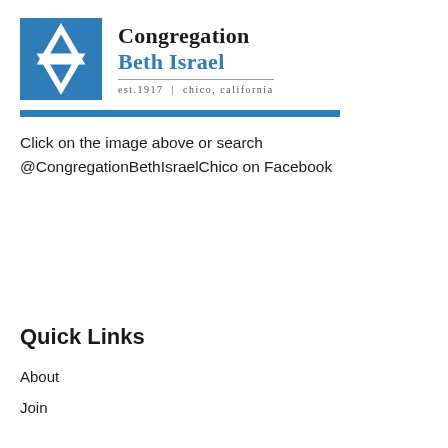[Figure (logo): Congregation Beth Israel logo with blue Star of David icon and text 'Congregation Beth Israel est.1917 | chico, california']
Click on the image above or search @CongregationBethIsraelChico on Facebook
Quick Links
About
Join